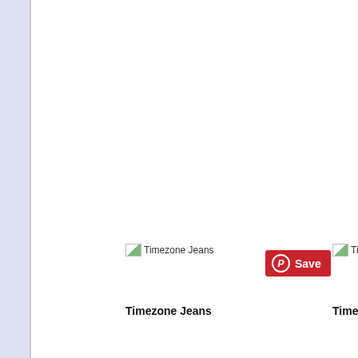[Figure (screenshot): Left lavender/blue sidebar panel]
[Figure (screenshot): Broken image placeholder labeled 'Timezone Jeans' (first product)]
[Figure (screenshot): Pinterest Save button with red background, white P circle icon and 'Save' text]
[Figure (screenshot): Broken image placeholder labeled 'Timez...' (second product, partially visible)]
Timezone Jeans
Timez...